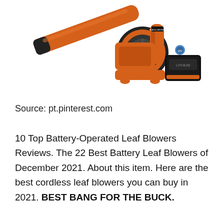[Figure (photo): Orange and black battery-operated leaf blower (Black+Decker brand) with lithium battery pack attached, shown at an angle against white background.]
Source: pt.pinterest.com
10 Top Battery-Operated Leaf Blowers Reviews. The 22 Best Battery Leaf Blowers of December 2021. About this item. Here are the best cordless leaf blowers you can buy in 2021. BEST BANG FOR THE BUCK.